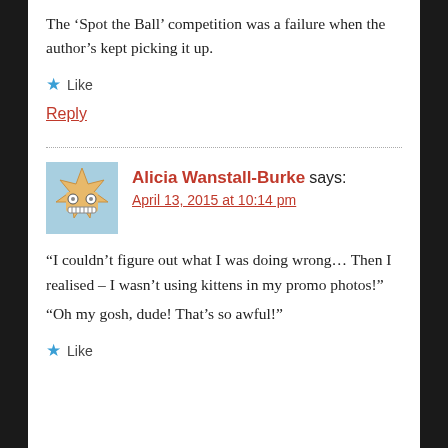The ‘Spot the Ball’ competition was a failure when the author’s kept picking it up.
★ Like
Reply
Alicia Wanstall-Burke says:
April 13, 2015 at 10:14 pm
“I couldn’t figure out what I was doing wrong… Then I realised – I wasn’t using kittens in my promo photos!” “Oh my gosh, dude! That’s so awful!”
★ Like